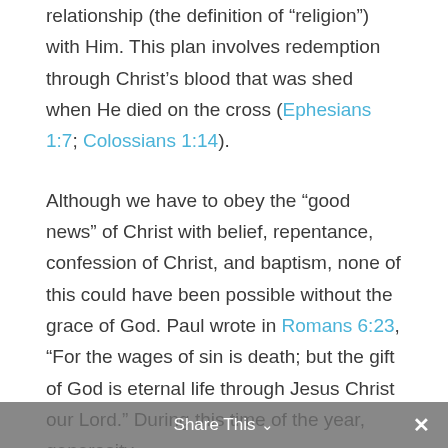relationship (the definition of “religion”) with Him. This plan involves redemption through Christ’s blood that was shed when He died on the cross (Ephesians 1:7; Colossians 1:14).
Although we have to obey the “good news” of Christ with belief, repentance, confession of Christ, and baptism, none of this could have been possible without the grace of God. Paul wrote in Romans 6:23, “For the wages of sin is death; but the gift of God is eternal life through Jesus Christ our Lord.” During this time of the year, generosity
Share This ∨   ×